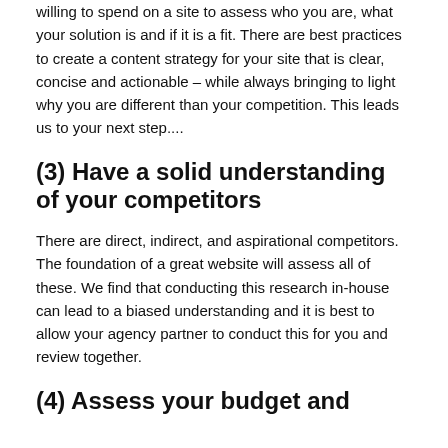willing to spend on a site to assess who you are, what your solution is and if it is a fit. There are best practices to create a content strategy for your site that is clear, concise and actionable – while always bringing to light why you are different than your competition. This leads us to your next step....
(3) Have a solid understanding of your competitors
There are direct, indirect, and aspirational competitors. The foundation of a great website will assess all of these. We find that conducting this research in-house can lead to a biased understanding and it is best to allow your agency partner to conduct this for you and review together.
(4) Assess your budget and